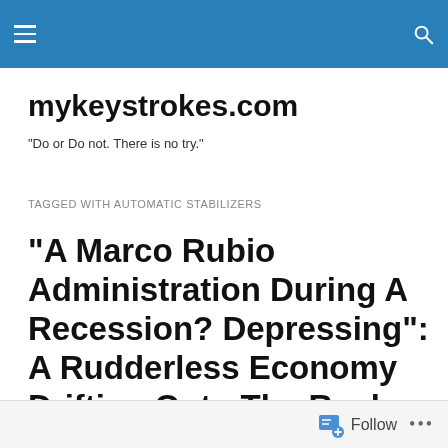mykeystrokes.com — site header navigation bar
mykeystrokes.com
"Do or Do not. There is no try."
TAGGED WITH AUTOMATIC STABILIZERS
“A Marco Rubio Administration During A Recession? Depressing”: A Rudderless Economy Drifting Onto The Rocks
Follow